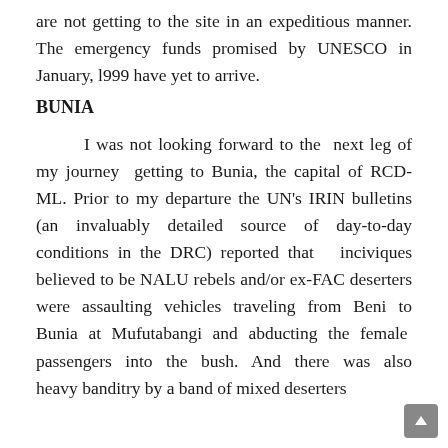are not getting to the site in an expeditious manner. The emergency funds promised by UNESCO in January, l999 have yet to arrive.
BUNIA
I was not looking forward to the next leg of my journey getting to Bunia, the capital of RCD-ML. Prior to my departure the UN's IRIN bulletins (an invaluably detailed source of day-to-day conditions in the DRC) reported that inciviques believed to be NALU rebels and/or ex-FAC deserters were assaulting vehicles traveling from Beni to Bunia at Mufutabangi and abducting the female passengers into the bush. And there was also heavy banditry by a band of mixed deserters